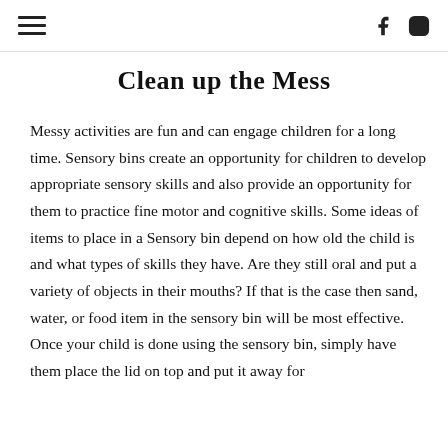[hamburger menu] [facebook icon] [instagram icon]
Clean up the Mess
Messy activities are fun and can engage children for a long time. Sensory bins create an opportunity for children to develop appropriate sensory skills and also provide an opportunity for them to practice fine motor and cognitive skills. Some ideas of items to place in a Sensory bin depend on how old the child is and what types of skills they have. Are they still oral and put a variety of objects in their mouths? If that is the case then sand, water, or food item in the sensory bin will be most effective. Once your child is done using the sensory bin, simply have them place the lid on top and put it away for